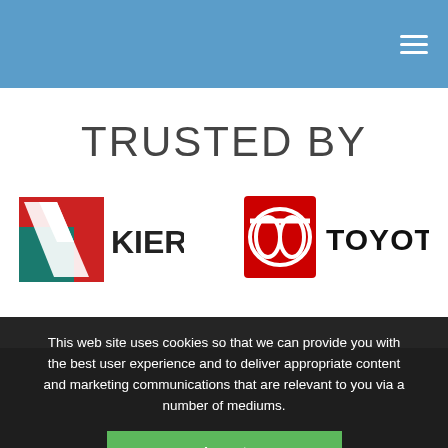TRUSTED BY
[Figure (logo): Kier Group logo with red and teal chevron graphic and KIER text]
[Figure (logo): Toyota logo with red square, circular Toyota emblem, and TOYOTA text]
This web site uses cookies so that we can provide you with the best user experience and to deliver appropriate content and marketing communications that are relevant to you via a number of mediums.
Accept
More Information